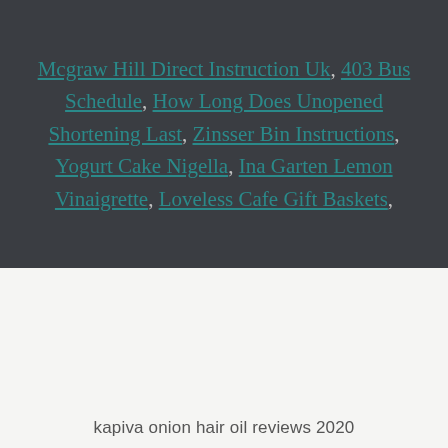Mcgraw Hill Direct Instruction Uk, 403 Bus Schedule, How Long Does Unopened Shortening Last, Zinsser Bin Instructions, Yogurt Cake Nigella, Ina Garten Lemon Vinaigrette, Loveless Cafe Gift Baskets,
kapiva onion hair oil reviews 2020